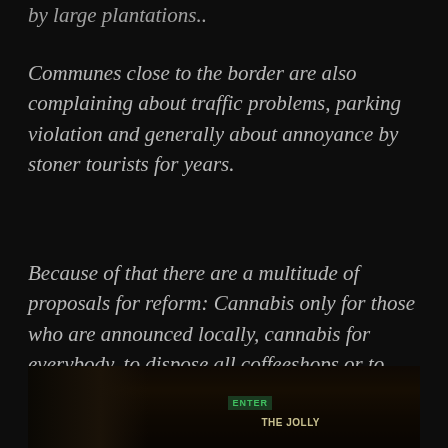by large plantations..
Communes close to the border are also complaining about traffic problems, parking violation and generally about annoyance by stoner tourists for years.
Because of that there are a multitude of proposals for reform: Cannabis only for those who are announced locally, cannabis for everybody, to dispose all coffeeshops or to completely legalize all cooffeeshops under the custody of the state.
[Figure (photo): Dark nighttime street scene showing illuminated signs including a green 'ENTER' sign and a sign reading 'THE JOLLY' visible among dark storefronts]